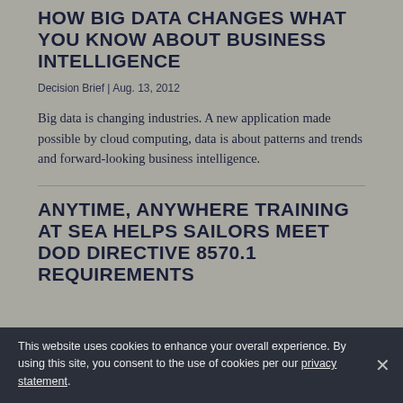HOW BIG DATA CHANGES WHAT YOU KNOW ABOUT BUSINESS INTELLIGENCE
Decision Brief | Aug. 13, 2012
Big data is changing industries. A new application made possible by cloud computing, data is about patterns and trends and forward-looking business intelligence.
ANYTIME, ANYWHERE TRAINING AT SEA HELPS SAILORS MEET DOD DIRECTIVE 8570.1 REQUIREMENTS
This website uses cookies to enhance your overall experience. By using this site, you consent to the use of cookies per our privacy statement.